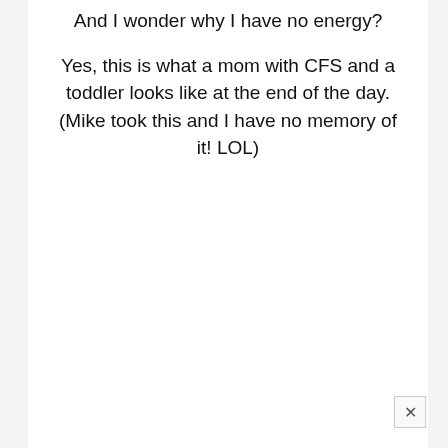And I wonder why I have no energy?
Yes, this is what a mom with CFS and a toddler looks like at the end of the day. (Mike took this and I have no memory of it! LOL)